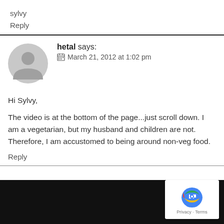sylvy
Reply
hetal says:
📅 March 21, 2012 at 1:02 pm
Hi Sylvy,

The video is at the bottom of the page...just scroll down. I am a vegetarian, but my husband and children are not. Therefore, I am accustomed to being around non-veg food.
Reply
[Figure (logo): reCAPTCHA badge with Google logo and Privacy/Terms links]